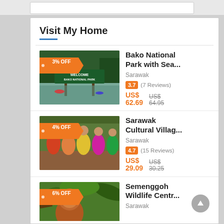Visit My Home
[Figure (photo): Entrance sign to Bako National Park with jungle and water in background, orange 3% OFF discount tag]
Bako National Park with Sea...
Sarawak
3.7 (7 Reviews)
US$ 62.69  US$ 64.95
[Figure (photo): Group of people in traditional Sarawak Cultural Village costumes, orange 4% OFF discount tag]
Sarawak Cultural Villag...
Sarawak
4.7 (15 Reviews)
US$ 29.09  US$ 30.25
[Figure (photo): Orangutan at Semenggoh Wildlife Centre in jungle, orange 6% OFF discount tag]
Semenggoh Wildlife Centr...
Sarawak